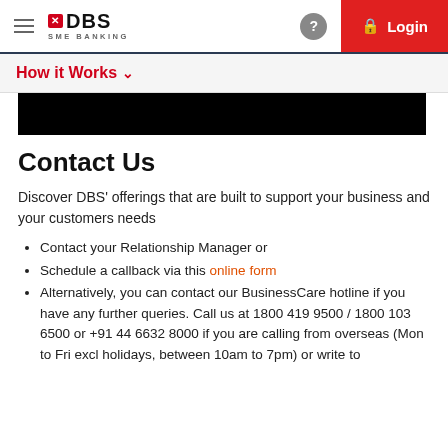DBS SME BANKING — Login
How it Works ∨
[Figure (photo): Black rectangular banner image]
Contact Us
Discover DBS' offerings that are built to support your business and your customers needs
Contact your Relationship Manager or
Schedule a callback via this online form
Alternatively, you can contact our BusinessCare hotline if you have any further queries. Call us at 1800 419 9500 / 1800 103 6500 or +91 44 6632 8000 if you are calling from overseas (Mon to Fri excl holidays, between 10am to 7pm) or write to